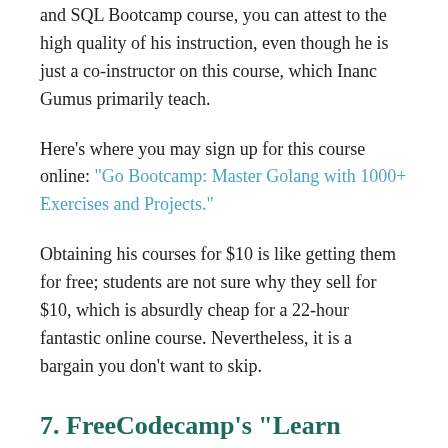and SQL Bootcamp course, you can attest to the high quality of his instruction, even though he is just a co-instructor on this course, which Inanc Gumus primarily teach.
Here's where you may sign up for this course online: "Go Bootcamp: Master Golang with 1000+ Exercises and Projects."
Obtaining his courses for $10 is like getting them for free; students are not sure why they sell for $10, which is absurdly cheap for a 22-hour fantastic online course. Nevertheless, it is a bargain you don't want to skip.
7. FreeCodecamp's "Learn